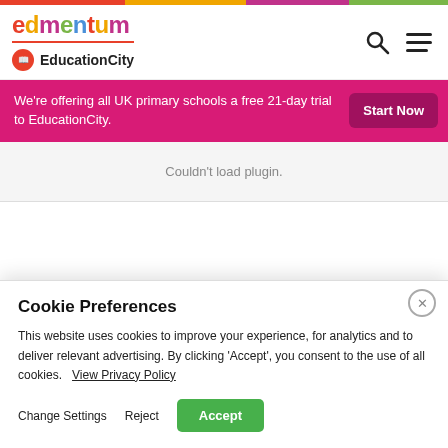[Figure (logo): edmentum logo with multicolor letters and EducationCity sub-brand with orange circle icon]
We're offering all UK primary schools a free 21-day trial to EducationCity.
Start Now
Couldn't load plugin.
Cookie Preferences
This website uses cookies to improve your experience, for analytics and to deliver relevant advertising. By clicking 'Accept', you consent to the use of all cookies.   View Privacy Policy
Change Settings   Reject   Accept